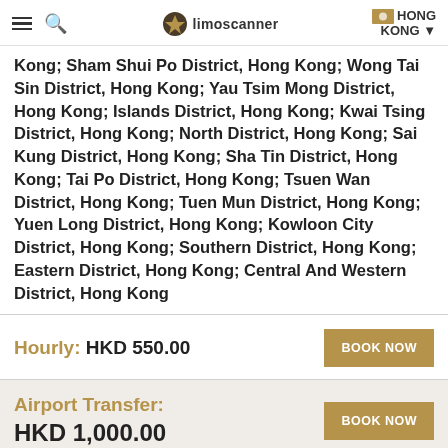limoscanner | HONG KONG
Kong; Sham Shui Po District, Hong Kong; Wong Tai Sin District, Hong Kong; Yau Tsim Mong District, Hong Kong; Islands District, Hong Kong; Kwai Tsing District, Hong Kong; North District, Hong Kong; Sai Kung District, Hong Kong; Sha Tin District, Hong Kong; Tai Po District, Hong Kong; Tsuen Wan District, Hong Kong; Tuen Mun District, Hong Kong; Yuen Long District, Hong Kong; Kowloon City District, Hong Kong; Southern District, Hong Kong; Eastern District, Hong Kong; Central And Western District, Hong Kong
Hourly: HKD 550.00
Airport Transfer: HKD 1,000.00
No Hidden Fees, Service Charge Included